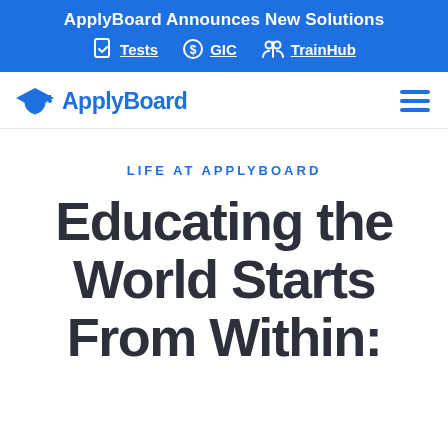ApplyBoard Announces New Solutions — Tests | GIC | TrainHub
[Figure (logo): ApplyBoard logo with graduation cap icon and blue wordmark]
LIFE AT APPLYBOARD
Educating the World Starts From Within: